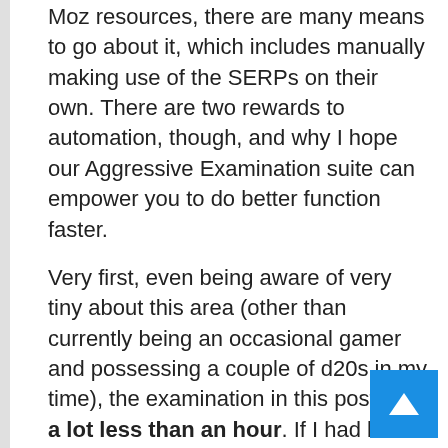Moz resources, there are many means to go about it, which includes manually making use of the SERPs on their own. There are two rewards to automation, though, and why I hope our Aggressive Examination suite can empower you to do better function faster.
Very first, even being aware of very tiny about this area (other than currently being an occasional gamer and possessing a couple of d20s in my time), the examination in this post took a lot less than an hour. If I had been developing a company in this place, I'd have been able to get at significant insights quickly.
Next, automation permits us to swiftly branch and iterate. Let us say that, right after this 1st examination, we resolved to emphasis on stone